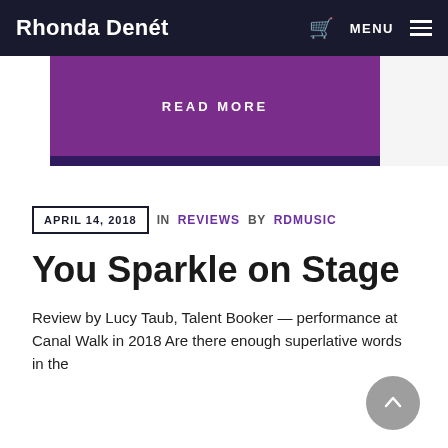Rhonda Denét  MENU
[Figure (other): Purple banner with READ MORE button]
APRIL 14, 2018  IN REVIEWS BY RDMUSIC
You Sparkle on Stage
Review by Lucy Taub, Talent Booker — performance at Canal Walk in 2018 Are there enough superlative words in the